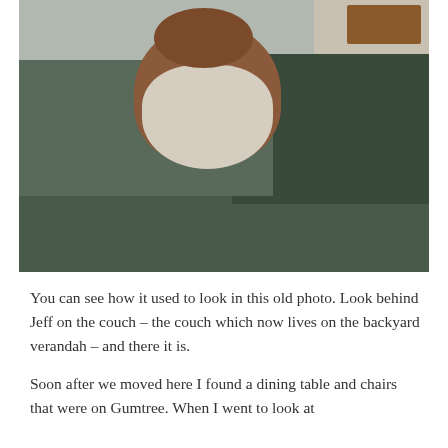[Figure (photo): A small fluffy dog (appears to be a Cavalier King Charles Spaniel or similar breed, with brown and white fur) sitting on the arm/back of a dark olive-green couch. Hardwood floor visible on the left, a table and other furniture visible in the background on the right.]
You can see how it used to look in this old photo. Look behind Jeff on the couch – the couch which now lives on the backyard verandah – and there it is.
Soon after we moved here I found a dining table and chairs that were on Gumtree. When I went to look at